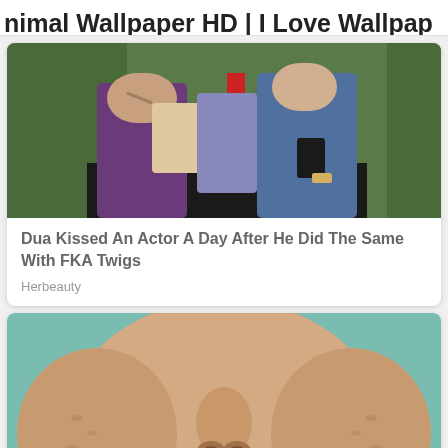nimal Wallpaper HD | I Love Wallpap
[Figure (photo): Two people standing outdoors, one wearing purple top with a bag, another in a blue vest holding items]
Dua Kissed An Actor A Day After He Did The Same With FKA Twigs
Herbeauty
[Figure (photo): Close-up of a person's lower face showing nose, lips, and cheeks with acne scarring on a teal/green background]
14 Natural Home Remedies & Tips For